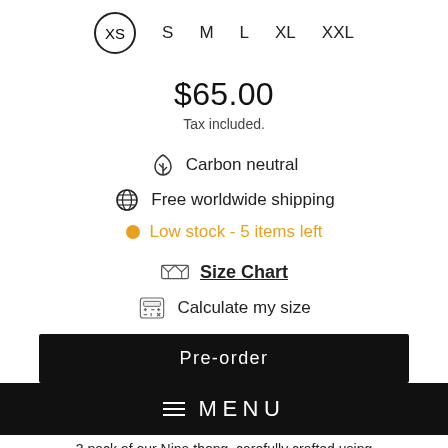XS  S  M  L  XL  XXL (size selector, XS selected/circled)
$65.00
Tax included.
Carbon neutral
Free worldwide shipping
Low stock - 5 items left
Size Chart
Calculate my size
Pre-order
MENU
3 pack of our Nina thong, carefully crafted using